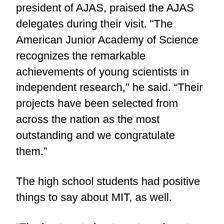president of AJAS, praised the AJAS delegates during their visit. "The American Junior Academy of Science recognizes the remarkable achievements of young scientists in independent research," he said. “Their projects have been selected from across the nation as the most outstanding and we congratulate them.”
The high school students had positive things to say about MIT, as well.
“The best part about our tour day at MIT was seeing real scientists working in their labs on cutting edge research,” said Hale Miller of Ohio.
“They [the scientists] were so excited about their work, and so wiling to share everything they knew.”